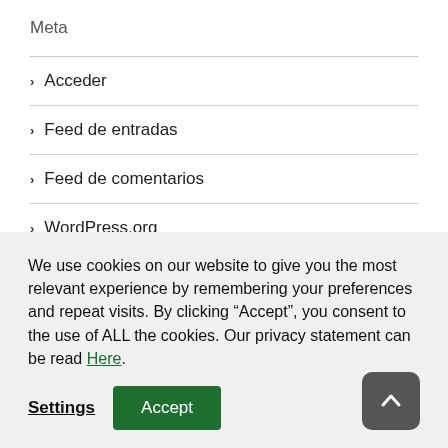Meta
Acceder
Feed de entradas
Feed de comentarios
WordPress.org
We use cookies on our website to give you the most relevant experience by remembering your preferences and repeat visits. By clicking “Accept”, you consent to the use of ALL the cookies. Our privacy statement can be read Here.
Settings | Accept